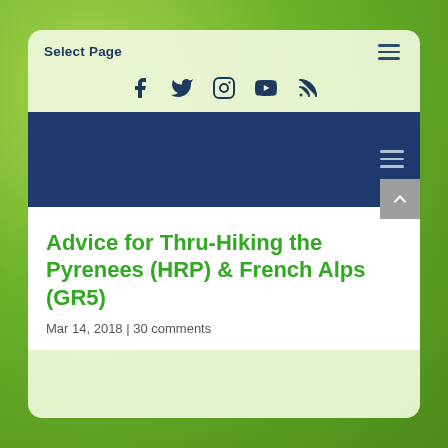Select Page
[Figure (screenshot): Social media icons row: Facebook, Twitter, Instagram, YouTube, RSS]
[Figure (screenshot): Dark blue navigation bar with hamburger menu icon on right]
Advice for Thru-Hiking the Pyrenees (HRP) & French Alps (GR5)
Mar 14, 2018 | 30 comments